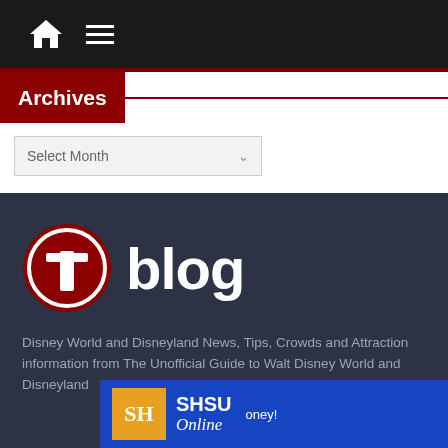[Figure (screenshot): Website navigation bar with home icon and hamburger menu on dark background]
Archives
[Figure (screenshot): Select Month dropdown element]
[Figure (logo): Touringplans blog logo — red circle with white letter t and the word blog in white]
Disney World and Disneyland News, Tips, Crowds and Attraction information from The Unofficial Guide to Walt Disney World and Disneyland
[Figure (screenshot): SHSU Online advertisement banner]